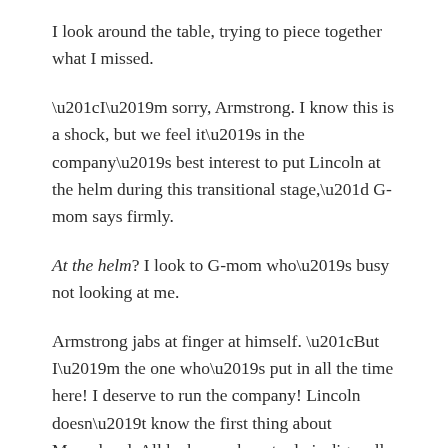I look around the table, trying to piece together what I missed.
“I’m sorry, Armstrong. I know this is a shock, but we feel it’s in the company’s best interest to put Lincoln at the helm during this transitional stage,” G-mom says firmly.
At the helm? I look to G-mom who’s busy not looking at me.
Armstrong jabs at finger at himself. “But I’m the one who’s put in all the time here! I deserve to run the company! Lincoln doesn’t know the first thing about Moorehead. All he knows how to do is dig wells and forage for food in the wilderness. How are those valuable assets here?” He turns his attention to our mother. “Did you know about this? How can you let this happen? Look at him. How can that be the face of our